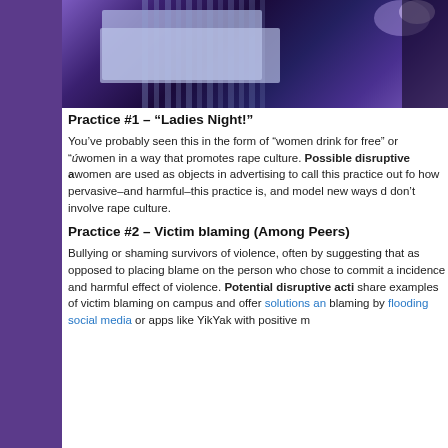[Figure (photo): Dark blue/purple-lit photo of a table with what appears to be a DJ or audio equipment setup in a dark venue]
Practice #1 – “Ladies Night!”
You’ve probably seen this in the form of “women drink for free” or “úwomen in a way that promotes rape culture. Possible disruptive a… women are used as objects in advertising to call this practice out fo… how pervasive–and harmful–this practice is, and model new ways d… don’t involve rape culture.
Practice #2 – Victim blaming (Among Peers)
Bullying or shaming survivors of violence, often by suggesting that… as opposed to placing blame on the person who chose to commit a… incidence and harmful effect of violence. Potential disruptive acti… share examples of victim blaming on campus and offer solutions an… blaming by flooding social media or apps like YikYak with positive m…